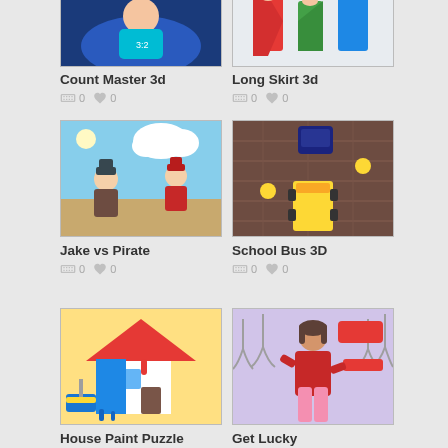[Figure (screenshot): Count Master 3d game thumbnail - cartoon character with blue outfit]
Count Master 3d
0  0
[Figure (screenshot): Long Skirt 3d game thumbnail - colorful dresses/skirts]
Long Skirt 3d
0  0
[Figure (screenshot): Jake vs Pirate game thumbnail - cartoon pirate characters on beach]
Jake vs Pirate
0  0
[Figure (screenshot): School Bus 3D game thumbnail - top-down view of bus on brick road]
School Bus 3D
0  0
[Figure (screenshot): House Paint Puzzle game thumbnail - colorful painted house with roller]
House Paint Puzzle
0  0
[Figure (screenshot): Get Lucky game thumbnail - 3D woman in pink outfit near clothing hangers]
Get Lucky
0  0